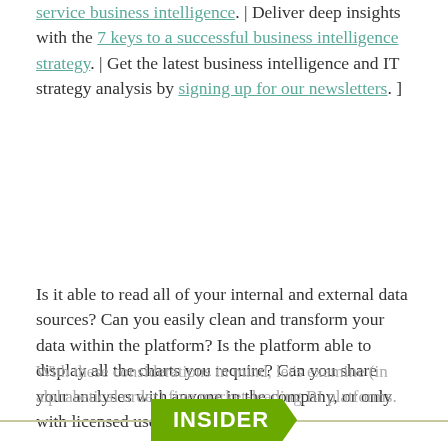service business intelligence. | Deliver deep insights with the 7 keys to a successful business intelligence strategy. | Get the latest business intelligence and IT strategy analysis by signing up for our newsletters. ]
Is it able to read all of your internal and external data sources? Can you easily clean and transform your data within the platform? Is the platform able to display all the charts you require? Can you share your analyses with anyone in the company, or only with licensed users?
With these considerations in mind, let's examine (in alphabetical order) five market-leading BI platforms.
[Figure (other): Green INSIDER badge/banner on a horizontal line at the bottom of the page]